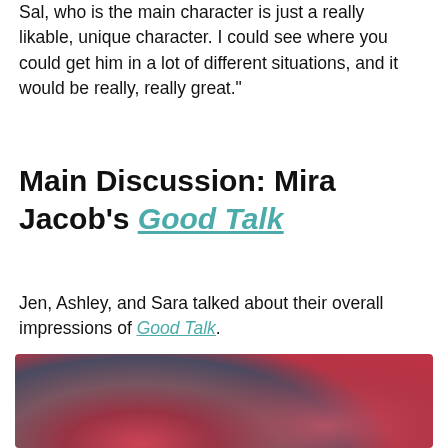Sal, who is the main character is just a really likable, unique character. I could see where you could get him in a lot of different situations, and it would be really, really great."
Main Discussion: Mira Jacob's Good Talk
Jen, Ashley, and Sara talked about their overall impressions of Good Talk.
[Figure (photo): A blurred/abstract image with pinkish-red and dark muted tones, appearing to be a book cover or media thumbnail. A blue circular button with three white dots is overlaid in the bottom right corner.]